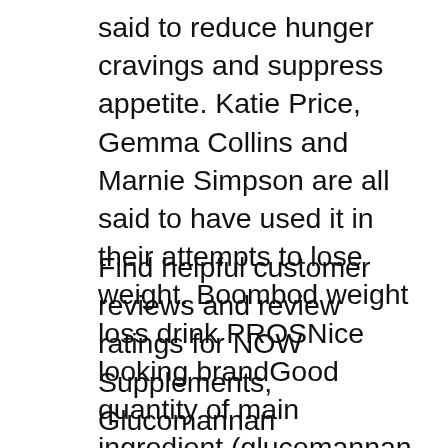said to reduce hunger cravings and suppress appetite. Katie Price, Gemma Collins and Marnie Simpson are all said to have used it in their attempts to lose weight. Boombod weight loss drink PROSNice looking brandGood quantity of main ingredient (glucomannan
Find helpful customer reviews and review ratings for NOW Supplements, Glucomannan (Amorphophallus konjac)575 mg, 180 Count Capsules at Amazon.com. Read honest and unbiased product reviews вЂ¦ But, aside from having a hard-to-spell name, most people donвЂ™t know too much about what the supplement really is. IвЂ™m going to clear everything up for you